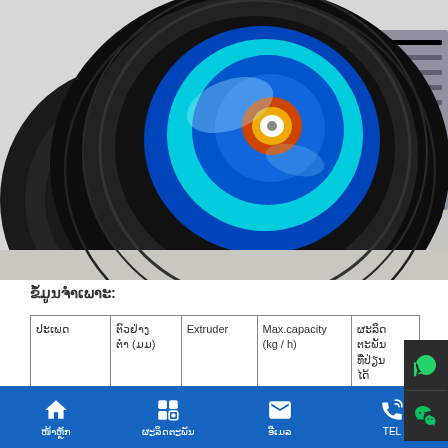[Figure (photo): Close-up photo of a large industrial extruder roller/wheel. The wheel has concentric black rubber rings with a bright blue and cyan illuminated center hub, set against a light industrial background.]
ຂໍ້ມູນຈຳເພາະ:
| ປະເພດ | ຕົວຢ່າງຕໍ່າ (ມມ) | Extruder | Max.capacity (kg / h) | ຜະລິດຕະພັນທີ່ປ່ຽນໄດ້ (ຊ... |
| --- | --- | --- | --- | --- |
ໜ້າຫຼັກ  ຜະລິດຕະພັນ  ອີເມລ  TEL